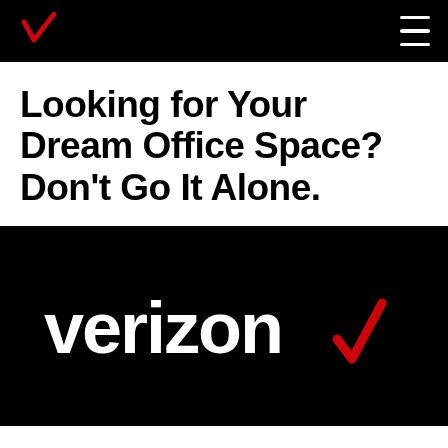Verizon header navigation bar with logo and hamburger menu
Looking for Your Dream Office Space? Don't Go It Alone.
[Figure (logo): Verizon logo in white text with red checkmark on black background]